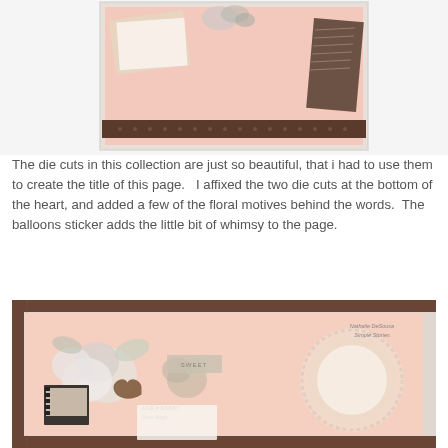[Figure (photo): Scrapbook page craft photo showing pink paper, floral die cuts, dark brown patterned border, and handwritten text on white background]
The die cuts in this collection are just so beautiful, that i had to use them to create the title of this page.   I affixed the two die cuts at the bottom of the heart, and added a few of the floral motives behind the words.  The balloons sticker adds the little bit of whimsy to the page.
[Figure (photo): Scrapbook layout with pink background, floral embellishments, a heart shape, filmstrip photos, 'Nathalie DeSousa Simple Stories' watermark, and text reading 'LIVE SIMPLY' and 'More Magic']